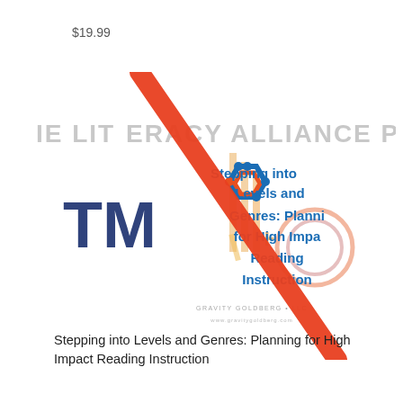$19.99
[Figure (illustration): Book cover composite image showing 'IE LITERACY ALLIANCE POWERED' text banner, a blue/orange molecular/hexagon logo, 'TM' letters in navy blue, and the title 'Stepping into Levels and Genres: Planning for High Impact Reading Instruction' in bold blue text, with a Gravity Goldberg LLC logo, overlaid by a large diagonal red/orange line through the image.]
Stepping into Levels and Genres: Planning for High Impact Reading Instruction